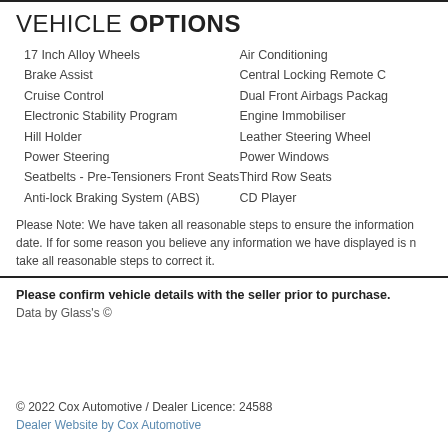VEHICLE OPTIONS
17 Inch Alloy Wheels
Brake Assist
Cruise Control
Electronic Stability Program
Hill Holder
Power Steering
Seatbelts - Pre-Tensioners Front Seats
Anti-lock Braking System (ABS)
Air Conditioning
Central Locking Remote C
Dual Front Airbags Packag
Engine Immobiliser
Leather Steering Wheel
Power Windows
Third Row Seats
CD Player
Please Note: We have taken all reasonable steps to ensure the information date. If for some reason you believe any information we have displayed is n take all reasonable steps to correct it.
Please confirm vehicle details with the seller prior to purchase.
Data by Glass's ©
© 2022 Cox Automotive / Dealer Licence: 24588
Dealer Website by Cox Automotive